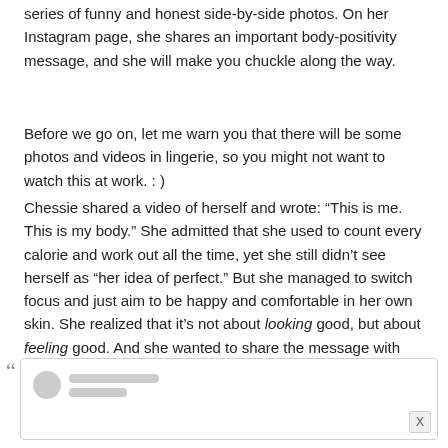series of funny and honest side-by-side photos. On her Instagram page, she shares an important body-positivity message, and she will make you chuckle along the way.
Before we go on, let me warn you that there will be some photos and videos in lingerie, so you might not want to watch this at work. : )
Chessie shared a video of herself and wrote: “This is me. This is my body.” She admitted that she used to count every calorie and work out all the time, yet she still didn’t see herself as “her idea of perfect.” But she managed to switch focus and just aim to be happy and comfortable in her own skin. She realized that it’s not about looking good, but about feeling good. And she wanted to share the message with the world.
[Figure (screenshot): Embedded social media post preview with a circular avatar placeholder, two gray lines representing a username and handle, and an X close button in the bottom right corner.]